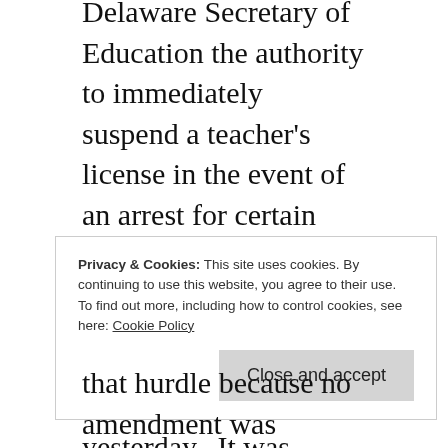Delaware Secretary of Education the authority to immediately suspend a teacher's license in the event of an arrest for certain crimes against a child.
The bill was released from the Senate Education Committee yesterday.  It was placed on the agenda for the Senate later that afternoon.  During discussion of the bill, Senator Anthony DelCollo wanted
Privacy & Cookies: This site uses cookies. By continuing to use this website, you agree to their use.
To find out more, including how to control cookies, see here: Cookie Policy
that hurdle because no amendment was